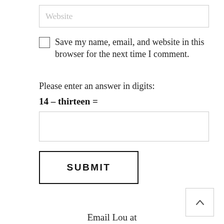[Figure (other): Website input field with placeholder text 'Website']
Save my name, email, and website in this browser for the next time I comment.
Please enter an answer in digits:
[Figure (other): Empty text input field for answer]
[Figure (other): SUBMIT button]
[Figure (other): Scroll-to-top button with upward arrow]
Email Lou at